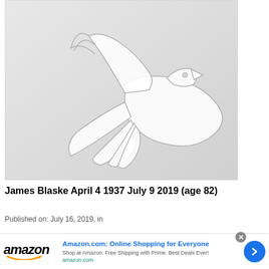[Figure (illustration): A light gray illustration of a dove in flight with outstretched wings, on a light gray gradient background, inside a white-bordered frame.]
James Blaske April 4 1937 July 9 2019 (age 82)
Published on: July 16, 2019, in
[Figure (infographic): Amazon advertisement banner: Amazon logo with smile on the left, headline 'Amazon.com: Online Shopping for Everyone', subtext 'Shop at Amazon. Free Shipping with Prime. Best Deals Ever!', url 'amazon.com', blue circular arrow button on right, and close (X) button.]